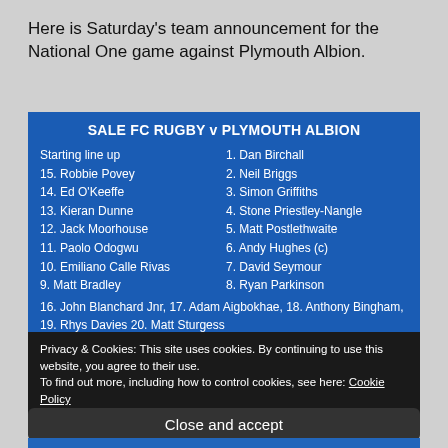Here is Saturday's team announcement for the National One game against Plymouth Albion.
SALE FC RUGBY v PLYMOUTH ALBION
Starting line up
15. Robbie Povey
14. Ed O'Keeffe
13. Kieran Dunne
12. Jack Moorhouse
11. Paolo Odogwu
10. Emiliano Calle Rivas
9. Matt Bradley
1. Dan Birchall
2. Neil Briggs
3. Simon Griffiths
4. Stone Priestley-Nangle
5. Matt Postlethwaite
6. Andy Hughes (c)
7. David Seymour
8. Ryan Parkinson
16. John Blanchard Jnr, 17. Adam Aigbokhae, 18. Anthony Bingham, 19. Rhys Davies 20. Matt Sturgess
Privacy & Cookies: This site uses cookies. By continuing to use this website, you agree to their use. To find out more, including how to control cookies, see here: Cookie Policy
Close and accept